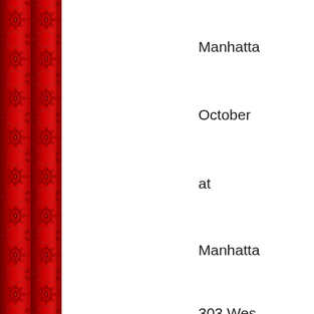[Figure (illustration): Red ornate floral/damask decorative border panel on the left side of the page]
Manhatta
October
at
Manhatta
303 Wes
To subm
The com
a synops
the runni
the set a